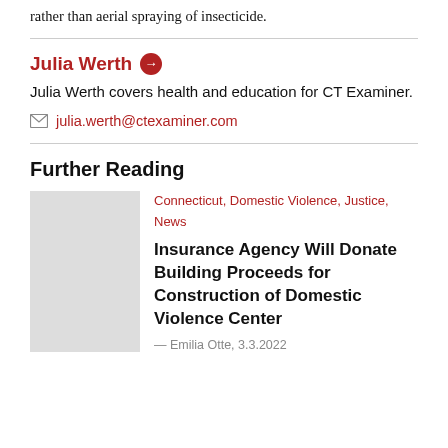rather than aerial spraying of insecticide.
Julia Werth
Julia Werth covers health and education for CT Examiner.
julia.werth@ctexaminer.com
Further Reading
Connecticut, Domestic Violence, Justice, News
Insurance Agency Will Donate Building Proceeds for Construction of Domestic Violence Center
— Emilia Otte, 3.3.2022